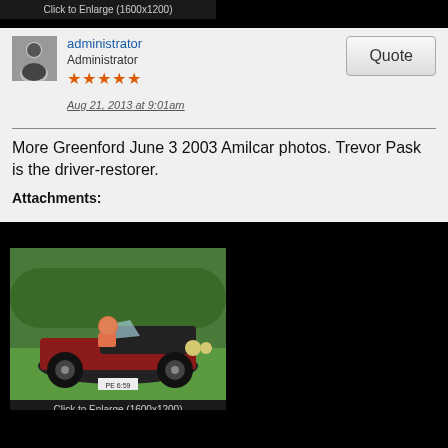Click to Enlarge (1600x1200)
administrator
Administrator
★★★★★
Aug 21, 2013 at 9:01am
Quote
More Greenford June 3 2003 Amilcar photos. Trevor Pask is the driver-restorer.
Attachments:
[Figure (photo): Vintage Amilcar car with driver wearing goggles, red open-top racing car with black engine, license plate PE 6:59, on green grass]
Click to Enlarge (1600x1200)